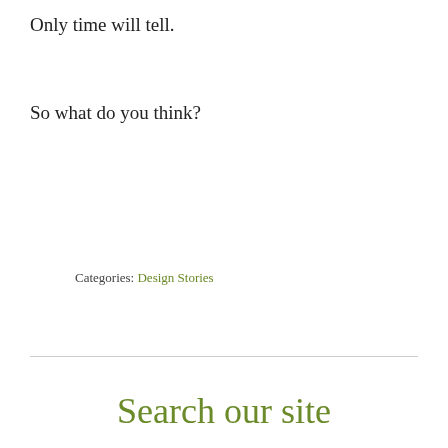Only time will tell.
So what do you think?
Categories: Design Stories
Search our site